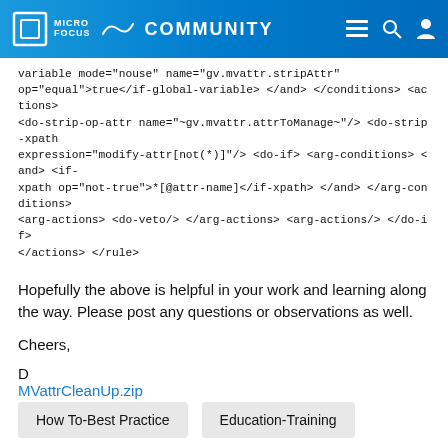MICRO FOCUS COMMUNITY
variable mode="nouse" name="gv.mvattr.stripAttr" op="equal">true</if-global-variable> </and> </conditions> <actions> <do-strip-op-attr name="~gv.mvattr.attrToManage~"/> <do-strip-xpath expression="modify-attr[not(*)]"/> <do-if> <arg-conditions> <and> <if-xpath op="not-true">*[@attr-name]</if-xpath> </and> </arg-conditions> <arg-actions> <do-veto/> </arg-actions> <arg-actions/> </do-if> </actions> </rule>
Hopefully the above is helpful in your work and learning along the way. Please post any questions or observations as well.
Cheers,
D
MVattrCleanUp.zip
Labels:
How To-Best Practice
Education-Training